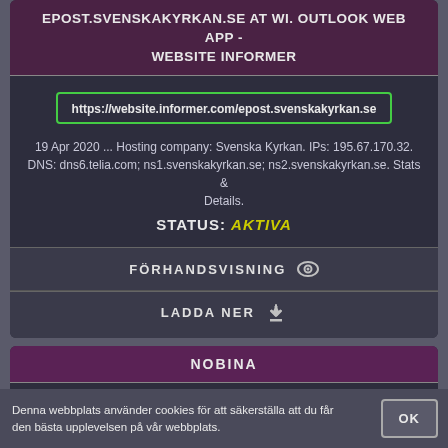EPOST.SVENSKAKYRKAN.SE AT WI. OUTLOOK WEB APP - WEBSITE INFORMER
https://website.informer.com/epost.svenskakyrkan.se
19 Apr 2020 ... Hosting company: Svenska Kyrkan. IPs: 195.67.170.32. DNS: dns6.telia.com; ns1.svenskakyrkan.se; ns2.svenskakyrkan.se. Stats & Details.
STATUS: AKTIVA
FÖRHANDSVISNING
LADDA NER
NOBINA
https://www.nobina.com/sv/
Denna webbplats använder cookies för att säkerställa att du får den bästa upplevelsen på vår webbplats.